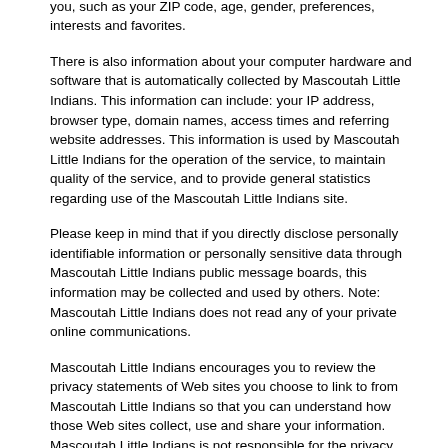such as your email address, name, home or work address or telephone number. Mascoutah Little Indians also collects anonymous demographic information, which is not unique to you, such as your ZIP code, age, gender, preferences, interests and favorites.
There is also information about your computer hardware and software that is automatically collected by Mascoutah Little Indians. This information can include: your IP address, browser type, domain names, access times and referring website addresses. This information is used by Mascoutah Little Indians for the operation of the service, to maintain quality of the service, and to provide general statistics regarding use of the Mascoutah Little Indians site.
Please keep in mind that if you directly disclose personally identifiable information or personally sensitive data through Mascoutah Little Indians public message boards, this information may be collected and used by others. Note: Mascoutah Little Indians does not read any of your private online communications.
Mascoutah Little Indians encourages you to review the privacy statements of Web sites you choose to link to from Mascoutah Little Indians so that you can understand how those Web sites collect, use and share your information. Mascoutah Little Indians is not responsible for the privacy statements or other content on Web sites outside of the Mascoutah Little Indians and Mascoutah Little Indians family of Web sites.